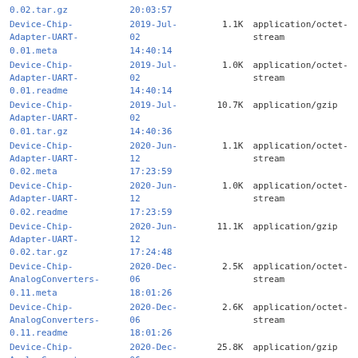| Filename | Date/Time | Size | MIME Type |
| --- | --- | --- | --- |
| 0.02.tar.gz | 20:03:57 |  |  |
| Device-Chip-Adapter-UART-0.01.meta | 2019-Jul-02
14:40:14 | 1.1K | application/octet-stream |
| Device-Chip-Adapter-UART-0.01.readme | 2019-Jul-02
14:40:14 | 1.0K | application/octet-stream |
| Device-Chip-Adapter-UART-0.01.tar.gz | 2019-Jul-02
14:40:36 | 10.7K | application/gzip |
| Device-Chip-Adapter-UART-0.02.meta | 2020-Jun-12
17:23:59 | 1.1K | application/octet-stream |
| Device-Chip-Adapter-UART-0.02.readme | 2020-Jun-12
17:23:59 | 1.0K | application/octet-stream |
| Device-Chip-Adapter-UART-0.02.tar.gz | 2020-Jun-12
17:24:48 | 11.1K | application/gzip |
| Device-Chip-AnalogConverters-0.11.meta | 2020-Dec-06
18:01:26 | 2.5K | application/octet-stream |
| Device-Chip-AnalogConverters-0.11.readme | 2020-Dec-06
18:01:26 | 2.6K | application/octet-stream |
| Device-Chip-AnalogConverters-0.11.tar.gz | 2020-Dec-06
20:18:18 | 25.8K | application/gzip |
| Device-Chip-AnalogConverters-0.12.meta | 2021-Jun-22
00:34:03 | 2.5K | application/octet-stream |
| Device-Chip- | 2021-Jun- |  | application/octet- |